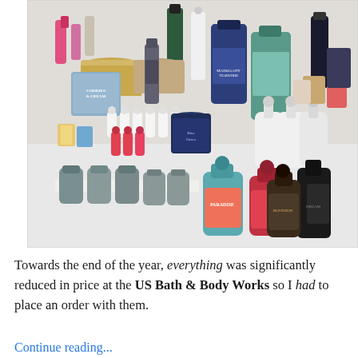[Figure (photo): A large collection of Bath & Body Works products spread across a white surface, including candles, hand soaps, body lotions, wallflower refills, and various other bath and body products in different sizes and colors.]
Towards the end of the year, everything was significantly reduced in price at the US Bath & Body Works so I had to place an order with them.
Continue reading...